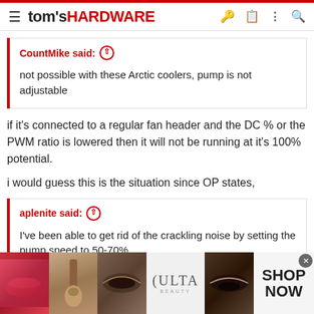tom's HARDWARE
CountMike said: ↑
not possible with these Arctic coolers, pump is not adjustable
if it's connected to a regular fan header and the DC % or the PWM ratio is lowered then it will not be running at it's 100% potential.
i would guess this is the situation since OP states,
aplenite said: ↑
I've been able to get rid of the crackling noise by setting the pump speed to 50-70%
[Figure (photo): Ulta Beauty advertisement banner showing makeup/cosmetics imagery with lips, brushes, eyes, Ulta logo, and SHOP NOW call to action]